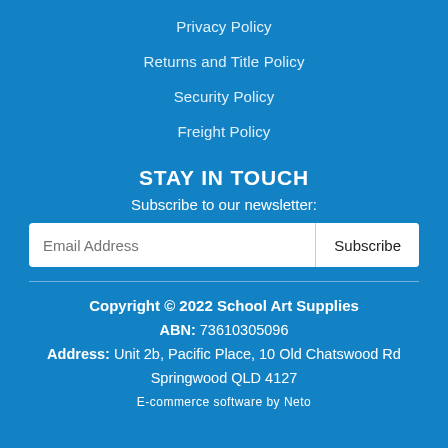Privacy Policy
Returns and Title Policy
Security Policy
Freight Policy
STAY IN TOUCH
Subscribe to our newsletter:
Email Address  Subscribe
Copyright © 2022 School Art Supplies
ABN: 73610305096
Address: Unit 2b, Pacific Place, 10 Old Chatswood Rd
Springwood QLD 4127
E-commerce software by Neto